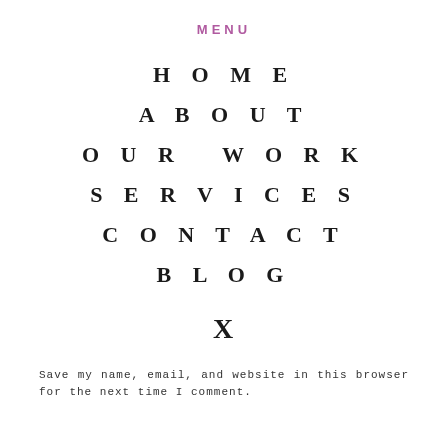MENU
HOME
ABOUT
OUR WORK
SERVICES
CONTACT
BLOG
X
Save my name, email, and website in this browser for the next time I comment.